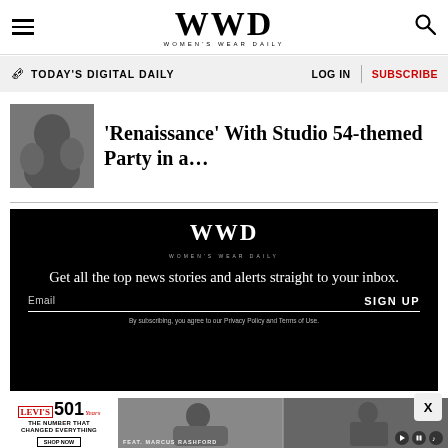WWD — Women's Wear Daily
TODAY'S DIGITAL DAILY   LOG IN   SUBSCRIBE
'Renaissance' With Studio 54-themed Party in a…
[Figure (photo): Thumbnail photo of people, partially visible]
[Figure (infographic): WWD newsletter signup box — black background with WWD logo, tagline 'Get all the top news stories and alerts straight to your inbox.', Email input field, SIGN UP button, and privacy policy disclaimer.]
[Figure (photo): Levi's 501 advertisement banner at bottom left showing logo, '501 Years' branding, tagline 'The Number That Changed Everything' and 'Shop Now' button]
[Figure (photo): Video panel showing a man on a couch and a woman, with 'Feat. Marcus Rashford' label and video controls]